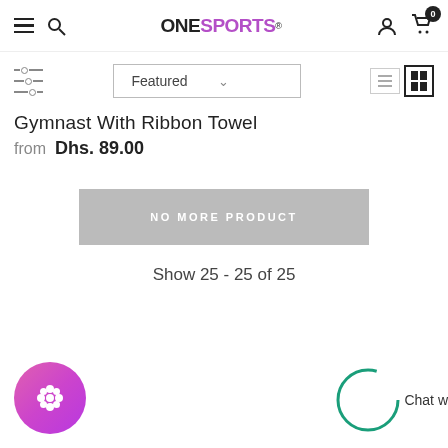ONE SPORTS
Gymnast With Ribbon Towel
from Dhs. 89.00
NO MORE PRODUCT
Show 25 - 25 of 25